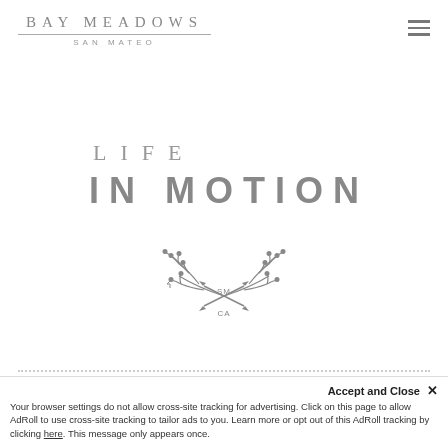BAY MEADOWS SAN MATEO
LIFE IN MOTION
[Figure (illustration): Decorative botanical emblem with branching twigs and leaf shapes, with 'SM' and 'CA' text in the center, used as a logo for Bay Meadows San Mateo.]
LEARN MORE
Accept and Close ✕ Your browser settings do not allow cross-site tracking for advertising. Click on this page to allow AdRoll to use cross-site tracking to tailor ads to you. Learn more or opt out of this AdRoll tracking by clicking here. This message only appears once.